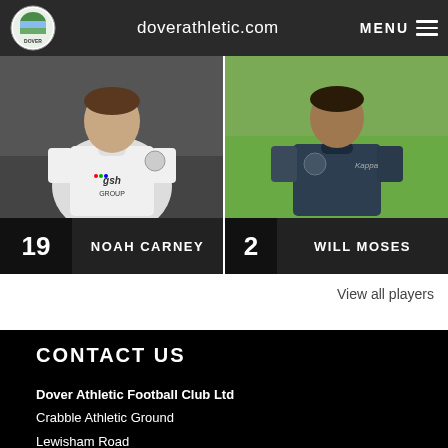doverathletic.com  MENU
[Figure (photo): Two Dover Athletic football players side by side. Left player (#19, Noah Carney) wears a white kit with 'gsh GROUP' sponsor. Right player (#2, Will Moses) wears a dark grey/navy Kappa kit with Dover Athletic badge.]
View all players
CONTACT US
Dover Athletic Football Club Ltd
Crabble Athletic Ground
Lewisham Road
Dover
Kent
CT17 0JB